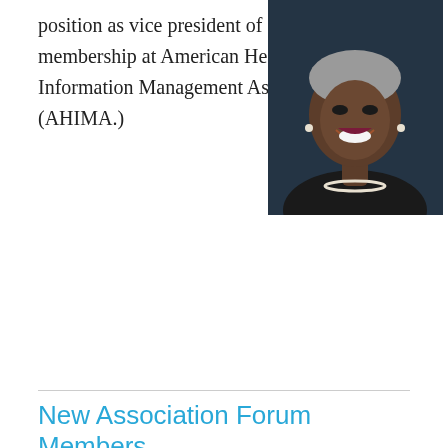position as vice president of membership at American Health Information Management Association (AHIMA.)
[Figure (photo): Headshot of a smiling woman with short gray hair and pearl necklace against a dark background]
New Association Forum Members
Individual Members
Edith Addo, American Board of Oral and Maxillofacial Surgery
John Bacon, Naylor Association Solutions